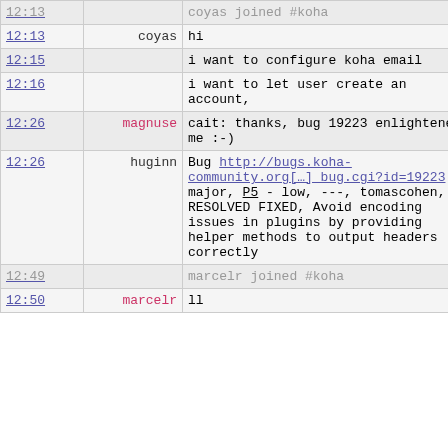| time | user | message |
| --- | --- | --- |
| 12:13 |  | coyas joined #koha |
| 12:13 | coyas | hi |
| 12:15 |  | i want to configure koha email |
| 12:16 |  | i want to let user create an account, |
| 12:26 | magnuse | cait: thanks, bug 19223 enlightened me :-) |
| 12:26 | huginn | Bug http://bugs.koha-community.org[…]_bug.cgi?id=19223 major, P5 - low, ---, tomascohen, RESOLVED FIXED, Avoid encoding issues in plugins by providing helper methods to output headers correctly |
| 12:49 |  | marcelr joined #koha |
| 12:50 | marcelr | ll |